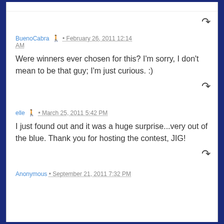BuenoCabra • February 26, 2011 12:14 AM
Were winners ever chosen for this? I'm sorry, I don't mean to be that guy; I'm just curious. :)
elle • March 25, 2011 5:42 PM
I just found out and it was a huge surprise...very out of the blue. Thank you for hosting the contest, JIG!
Anonymous • September 21, 2011 7:32 PM